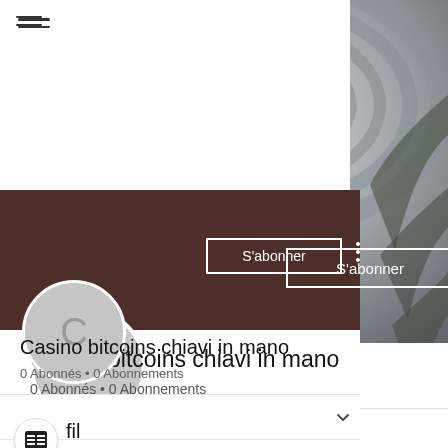[Figure (screenshot): Social media profile page screenshot showing a header banner photo of a person in a tunnel, a grey circular avatar with letter C, a dark brown profile header bar with S'abonner (Subscribe) button and three-dot menu, profile name 'Casino bitcoins chiavi in mano', subscriber stats '0 Abonnés • 0 Abonnements', a tab bar with a dropdown chevron, and a profile section icon with text 'fil' and 'A rejoint le : 15 mai 2022']